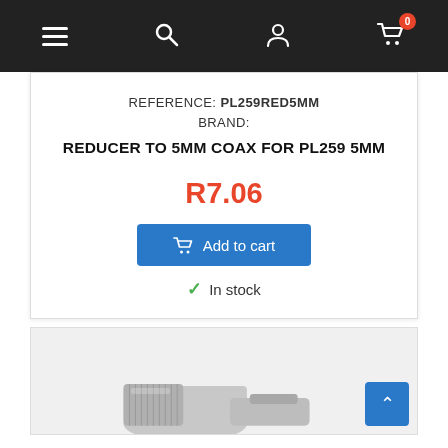Navigation bar with menu, search, account, and cart (0 items) icons
REFERENCE: PL259RED5MM
BRAND:
REDUCER TO 5MM COAX FOR PL259 5MM
R7.06
Add to cart
In stock
[Figure (photo): Photo of a silver/chrome coaxial connector reducer component on a light background]